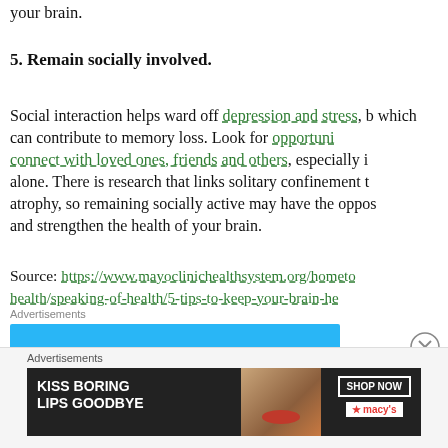your brain.
5. Remain socially involved.
Social interaction helps ward off depression and stress, both which can contribute to memory loss. Look for opportunities to connect with loved ones, friends and others, especially if you live alone. There is research that links solitary confinement to brain atrophy, so remaining socially active may have the opposite effect and strengthen the health of your brain.
Source: https://www.mayoclinichealthsystem.org/hometown-health/speaking-of-health/5-tips-to-keep-your-brain-he
Advertisements
[Figure (other): Blue advertisement banner placeholder]
Advertisements
[Figure (other): Macy's advertisement banner: KISS BORING LIPS GOODBYE, SHOP NOW, macy's]